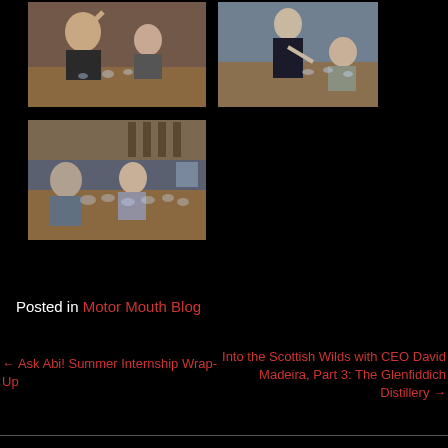[Figure (photo): Woman holding up a glass at a tasting table with a man seated beside her, glasses on the table]
[Figure (photo): Person pouring or handling something at a table with a woman seated nearby, glasses on the table]
[Figure (photo): Two people seated at a large table with many glasses arranged in front, shelves in background]
Posted in Motor Mouth Blog
← Ask Abi! Summer Internship Wrap-Up
Into the Scottish Wilds with CEO David Madeira, Part 3: The Glenfiddich Distillery →